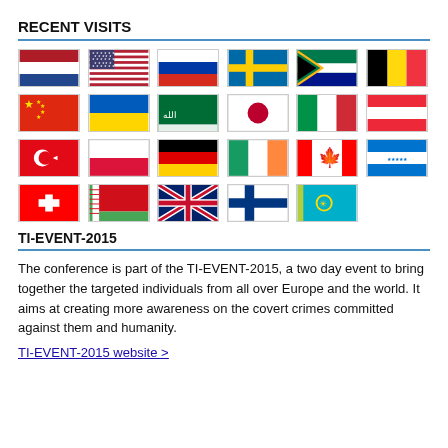RECENT VISITS
[Figure (infographic): Grid of 23 country flags showing recent visits: Netherlands, USA, Russia, Sweden, South Africa, Belgium, China, Ukraine, Saudi Arabia, Japan, Italy, Austria, Turkey, Poland, Germany, Ireland, Canada, Honduras, Switzerland, Belarus, UK, Finland, Kazakhstan]
TI-EVENT-2015
The conference is part of the TI-EVENT-2015, a two day event to bring together the targeted individuals from all over Europe and the world. It aims at creating more awareness on the covert crimes committed against them and humanity.
TI-EVENT-2015 website >